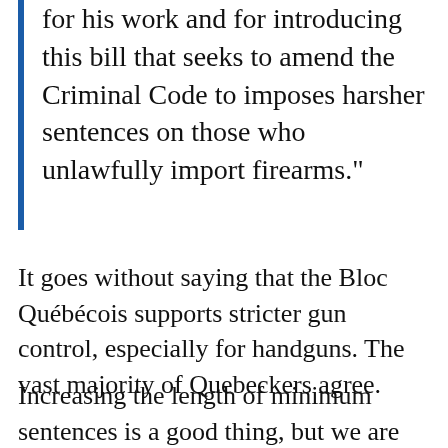for his work and for introducing this bill that seeks to amend the Criminal Code to imposes harsher sentences on those who unlawfully import firearms."
It goes without saying that the Bloc Québécois supports stricter gun control, especially for handguns. The vast majority of Quebeckers agree.
Increasing the length of minimum sentences is a good thing, but we are concerned that this will unfortunately not have a marked impact on the importation of illegal weapons. More importantly, we are concerned that it will not have a significant impact on reducing violence in our communities.
The Conservatives' desire to address the issue of access to firearms is legitimate, but is it genuine? Unfortunately, history has shown us